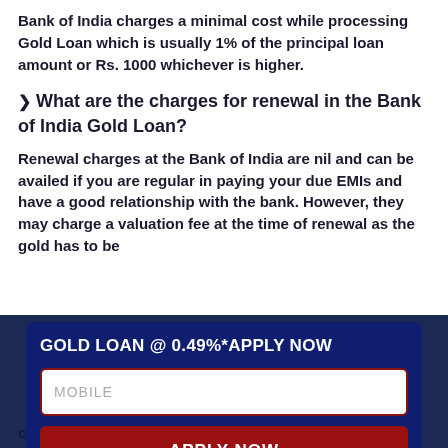Bank of India charges a minimal cost while processing Gold Loan which is usually 1% of the principal loan amount or Rs. 1000 whichever is higher.
❯ What are the charges for renewal in the Bank of India Gold Loan?
Renewal charges at the Bank of India are nil and can be availed if you are regular in paying your due EMIs and have a good relationship with the bank. However, they may charge a valuation fee at the time of renewal as the gold has to be
[Figure (infographic): Modal popup with dark blue background. Title: GOLD LOAN @ 0.49%*APPLY NOW. Mobile input field with red border. Red APPLY NOW button.]
charged for the prepayment of the loan.